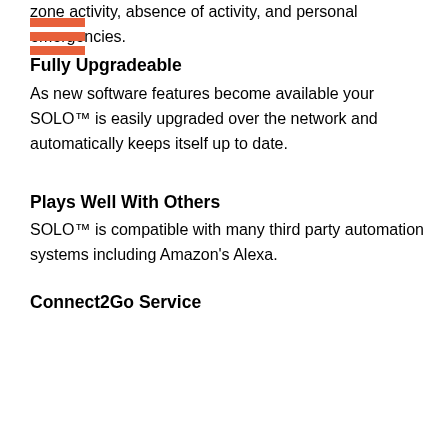zone activity, absence of activity, and personal emergencies.
Fully Upgradeable
As new software features become available your SOLO™ is easily upgraded over the network and automatically keeps itself up to date.
Plays Well With Others
SOLO™ is compatible with many third party automation systems including Amazon's Alexa.
Connect2Go Service
With the addition of the Connect2Go cloud service your control is enhanced and can be extended to anywhere in the world. Connect2Go also allows you to specify e-mail or push notification (using App) contacts to receive alarms, arms, disarms and more.
Product Features
• Up to 32 wireless zones
• 1 Programmable noise detection zone